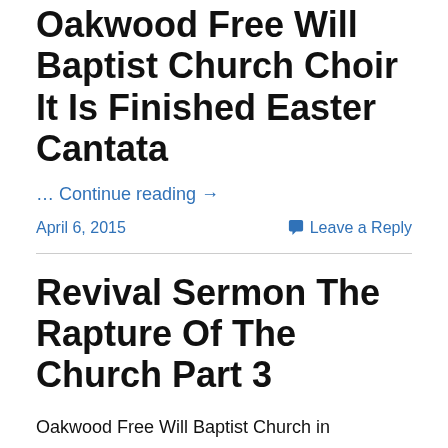Oakwood Free Will Baptist Church Choir It Is Finished Easter Cantata
… Continue reading →
April 6, 2015
Leave a Reply
Revival Sermon The Rapture Of The Church Part 3
Oakwood Free Will Baptist Church in Oakwood, TN was the host of this Revival Series with Guest Speaker Brother Cecil Boswell.  Brother Cecil Boswell is the Pastor at Friendship Free Will Baptist Church in Ashland City, TN. If you missed it tonight there was part 3 of the Revival